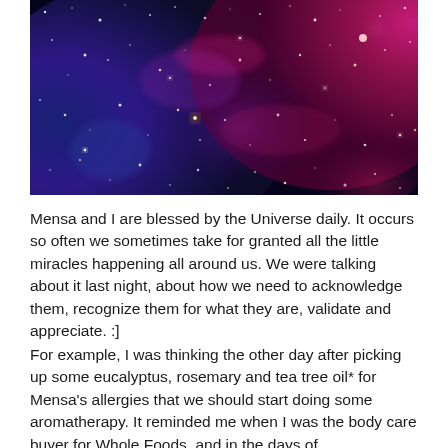[Figure (photo): A colorful galaxy/nebula photograph with deep blue, purple, and pink/magenta hues with stars scattered throughout]
Mensa and I are blessed by the Universe daily. It occurs so often we sometimes take for granted all the little miracles happening all around us. We were talking about it last night, about how we need to acknowledge them, recognize them for what they are, validate and appreciate. :]
For example, I was thinking the other day after picking up some eucalyptus, rosemary and tea tree oil* for Mensa's allergies that we should start doing some aromatherapy. It reminded me when I was the body care buyer for Whole Foods, and in the days of... [continues]